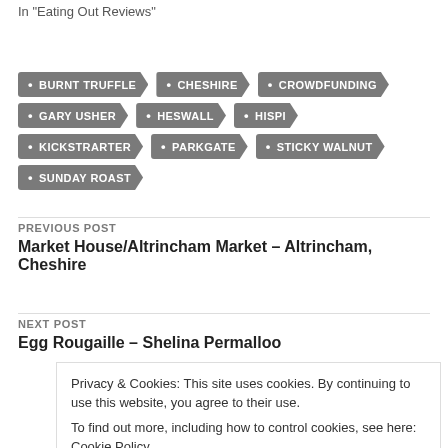In "Eating Out Reviews"
BURNT TRUFFLE
CHESHIRE
CROWDFUNDING
GARY USHER
HESWALL
HISPI
KICKSTRARTER
PARKGATE
STICKY WALNUT
SUNDAY ROAST
PREVIOUS POST
Market House/Altrincham Market – Altrincham, Cheshire
NEXT POST
Egg Rougaille – Shelina Permalloo
Privacy & Cookies: This site uses cookies. By continuing to use this website, you agree to their use.
To find out more, including how to control cookies, see here: Cookie Policy
Close and accept